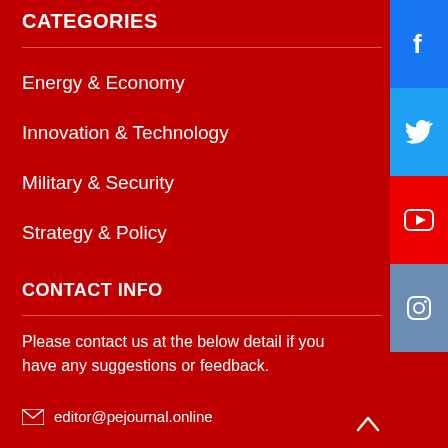CATEGORIES
Energy & Economy
Innovation & Technology
Military & Security
Strategy & Policy
CONTACT INFO
Please contact us at the below detail if you have any suggestions or feedback.
editor@pejournal.online